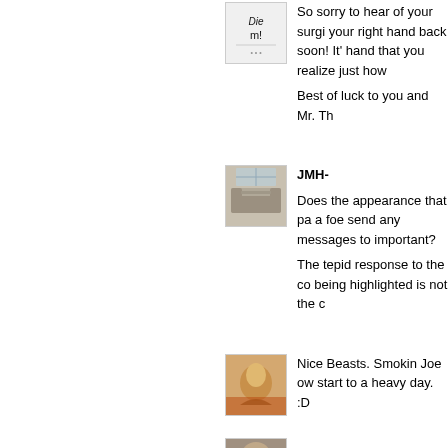[Figure (photo): Avatar image with handwritten text 'Die M!']
So sorry to hear of your surgi your right hand back soon! It' hand that you realize just how Best of luck to you and Mr. Th
[Figure (photo): Avatar image showing a gray sofa/couch near a window]
JMH-

Does the appearance that pa a foe send any messages to important?

The tepid response to the co being highlighted is not the c
[Figure (photo): Avatar image showing a painted or illustrated portrait]
Nice Beasts. Smokin Joe ow start to a heavy day. :D
[Figure (photo): Partial avatar image at bottom of page]